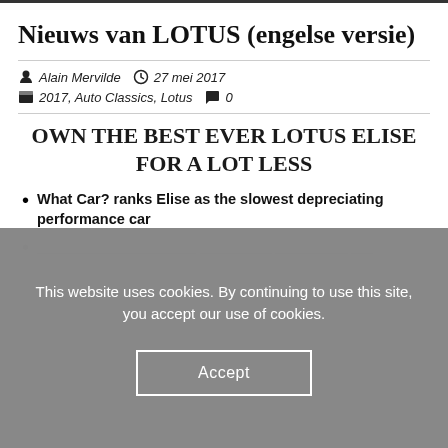Nieuws van LOTUS (engelse versie)
Alain Mervilde   27 mei 2017   2017, Auto Classics, Lotus   0
OWN THE BEST EVER LOTUS ELISE FOR A LOT LESS
What Car? ranks Elise as the slowest depreciating performance car
This website uses cookies. By continuing to use this site, you accept our use of cookies.
Accept